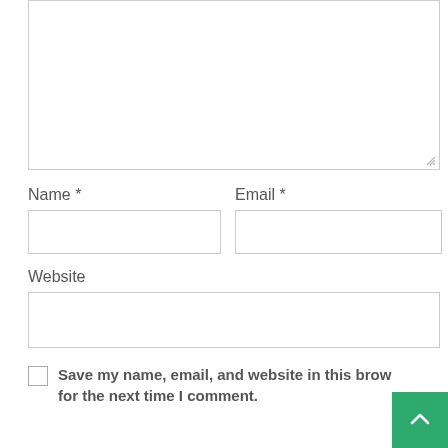[Figure (screenshot): A large empty textarea input box with a resize handle at the bottom right corner]
Name *
[Figure (screenshot): Empty text input box for Name field]
Email *
[Figure (screenshot): Empty text input box for Email field]
Website
[Figure (screenshot): Empty text input box for Website field]
Save my name, email, and website in this brow for the next time I comment.